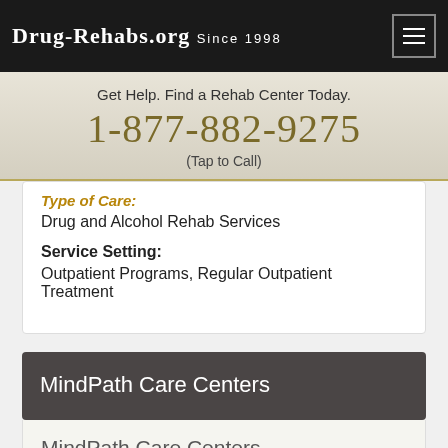Drug-Rehabs.org Since 1998
Get Help. Find a Rehab Center Today.
1-877-882-9275
(Tap to Call)
Type of Care:
Drug and Alcohol Rehab Services
Service Setting:
Outpatient Programs, Regular Outpatient Treatment
MindPath Care Centers
MindPath Care Centers